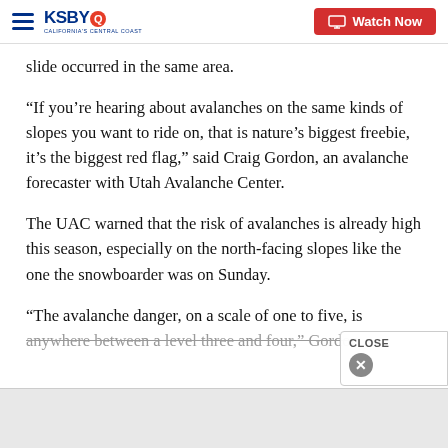KSBY - California's Central Coast | Watch Now
slide occurred in the same area.
“If you’re hearing about avalanches on the same kinds of slopes you want to ride on, that is nature’s biggest freebie, it’s the biggest red flag,” said Craig Gordon, an avalanche forecaster with Utah Avalanche Center.
The UAC warned that the risk of avalanches is already high this season, especially on the north-facing slopes like the one the snowboarder was on Sunday.
“The avalanche danger, on a scale of one to five, is anywhere between a level three and four,” Gordon